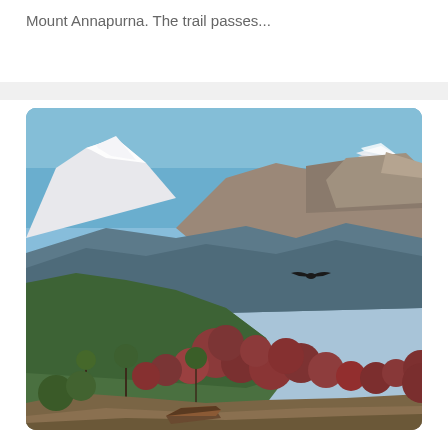Mount Annapurna. The trail passes...
[Figure (photo): Panoramic mountain landscape showing snow-capped Annapurna range in the background, with green forested hills and autumn red-leafed trees in the foreground, valley with haze in the middle ground, and a bird in flight on the right side. Clear blue sky above.]